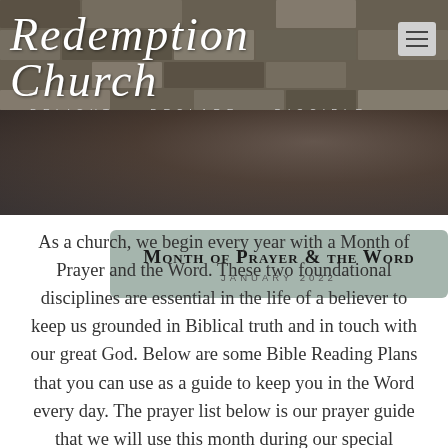[Figure (logo): Redemption Church logo with stone background, italic script font, subtitle reading DELIGHT DECLARE DISCIPLE, and hamburger menu button in top right]
Month of Prayer & the Word
JANUARY 2022
As a church, we begin every year with a Month of Prayer and the Word. These two foundational disciplines are essential in the life of a believer to keep us grounded in Biblical truth and in touch with our great God. Below are some Bible Reading Plans that you can use as a guide to keep you in the Word every day. The prayer list below is our prayer guide that we will use this month during our special gathering times for prayer. I want to encourage